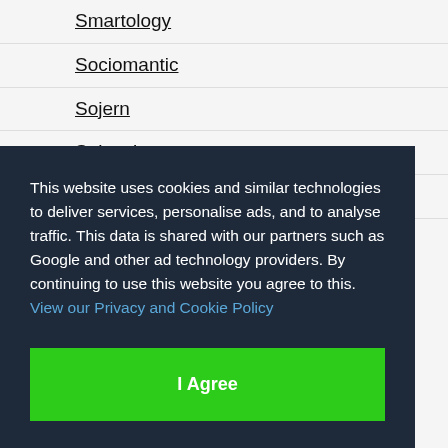Smartology
Sociomantic
Sojern
Solocal
Sovrn
SpotX
This website uses cookies and similar technologies to deliver services, personalise ads, and to analyse traffic. This data is shared with our partners such as Google and other ad technology providers. By continuing to use this website you agree to this.
View our Privacy and Cookie Policy
I Agree
TraEffert